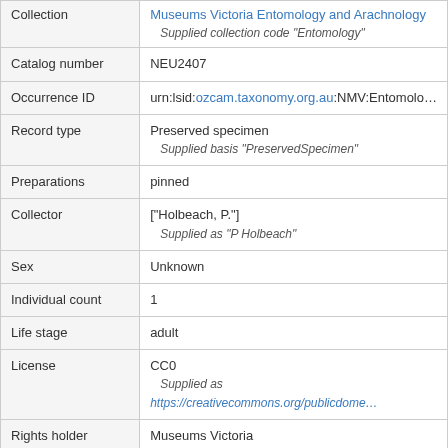| Field | Value |
| --- | --- |
| Collection | Museums Victoria Entomology and Arachnology
Supplied collection code "Entomology" |
| Catalog number | NEU2407 |
| Occurrence ID | urn:lsid:ozcam.taxonomy.org.au:NMV:Entomolo... |
| Record type | Preserved specimen
Supplied basis "PreservedSpecimen" |
| Preparations | pinned |
| Collector | ["Holbeach, P."]
Supplied as "P Holbeach" |
| Sex | Unknown |
| Individual count | 1 |
| Life stage | adult |
| License | CC0
Supplied as https://creativecommons.org/publicdome... |
| Rights holder | Museums Victoria |
| Institution ID | urn:lsid:biocol.org:col:34978 |